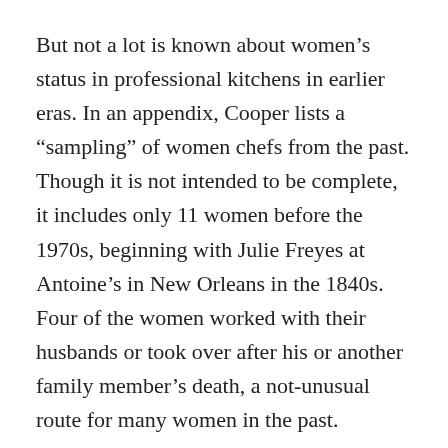But not a lot is known about women's status in professional kitchens in earlier eras. In an appendix, Cooper lists a “sampling” of women chefs from the past. Though it is not intended to be complete, it includes only 11 women before the 1970s, beginning with Julie Freyes at Antoine’s in New Orleans in the 1840s. Four of the women worked with their husbands or took over after his or another family member’s death, a not-unusual route for many women in the past.
I wanted to see if I could find out more about women chefs in this country before the changes since the 1970s. Were there many women chefs in the past, I wondered, and what kinds of hotel or restaurant kitchens did they work in?
One problem crops up right away: what exactly is the meaning of chef, particularly in the U.S.? Does it refer to a